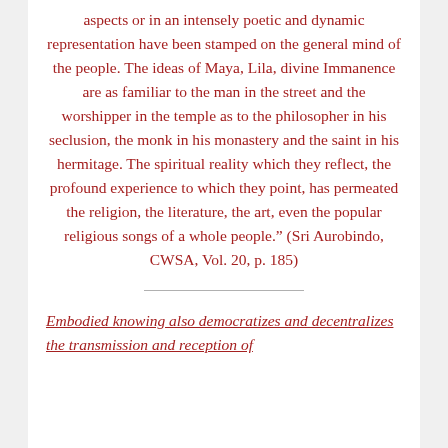aspects or in an intensely poetic and dynamic representation have been stamped on the general mind of the people. The ideas of Maya, Lila, divine Immanence are as familiar to the man in the street and the worshipper in the temple as to the philosopher in his seclusion, the monk in his monastery and the saint in his hermitage. The spiritual reality which they reflect, the profound experience to which they point, has permeated the religion, the literature, the art, even the popular religious songs of a whole people." (Sri Aurobindo, CWSA, Vol. 20, p. 185)
Embodied knowing also democratizes and decentralizes the transmission and reception of